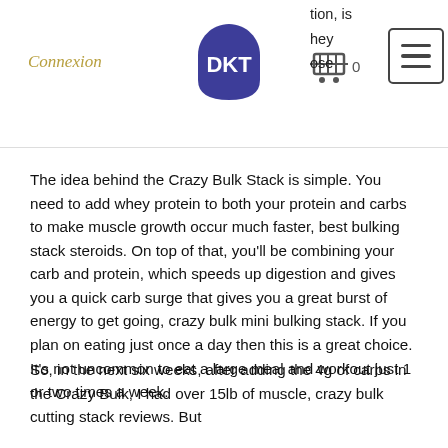Connexion  [DKT logo]  [cart] 0  [menu]  tion, is they ose
The idea behind the Crazy Bulk Stack is simple. You need to add whey protein to both your protein and carbs to make muscle growth occur much faster, best bulking stack steroids. On top of that, you'll be combining your carb and protein, which speeds up digestion and gives you a quick carb surge that gives you a great burst of energy to get going, crazy bulk mini bulking stack. If you plan on eating just once a day then this is a great choice. It's not uncommon to eat a large meal and workout just 1 or two times a week.
So, in the next six weeks, after adding the 4g of carbs in the Crazy Bulk, I had over 15lb of muscle, crazy bulk cutting stack reviews. But